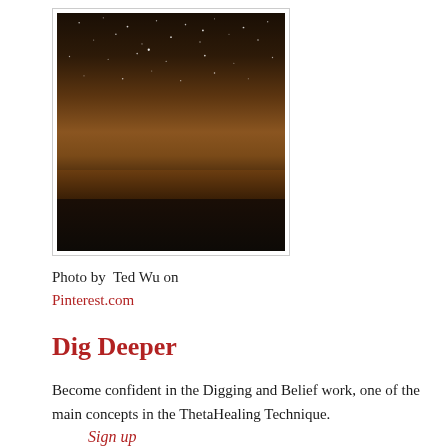[Figure (photo): Night sky photograph showing a dark landscape with a glowing doorway or opening in a structure, stars visible in the sky, warm amber/brown tones]
Photo by  Ted Wu on Pinterest.com
Dig Deeper
Become confident in the Digging and Belief work, one of the main concepts in the ThetaHealing Technique.
Sign up